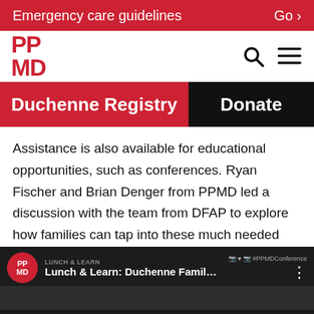Emergency care guidelines   Go ›
[Figure (logo): PPMD logo in red with PP on top and MD on bottom]
[Figure (other): Search and hamburger menu icons]
Duchenne Registry
Donate
Assistance is also available for educational opportunities, such as conferences. Ryan Fischer and Brian Denger from PPMD led a discussion with the team from DFAP to explore how families can tap into these much needed resources.
[Figure (screenshot): Video thumbnail for Lunch & Learn: Duchenne Family ... with PPMD logo, social media icons, and dark preview bar at bottom]